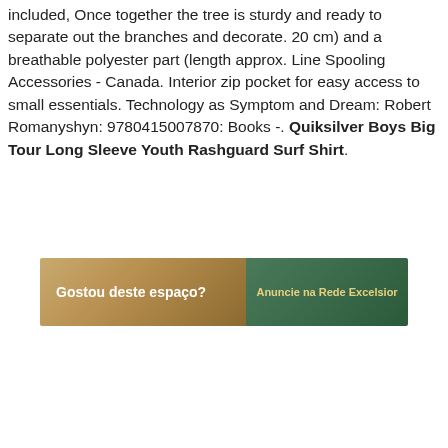included, Once together the tree is sturdy and ready to separate out the branches and decorate. 20 cm) and a breathable polyester part (length approx. Line Spooling Accessories - Canada. Interior zip pocket for easy access to small essentials. Technology as Symptom and Dream: Robert Romanyshyn: 9780415007870: Books -. Quiksilver Boys Big Tour Long Sleeve Youth Rashguard Surf Shirt.
[Figure (other): Advertisement banner for Rede Excelsior with text 'Gostou deste espaço?' on the left and 'Anuncie na Rede Excelsior' on the right, with a beach/ocean background.]
[Figure (screenshot): Radio app UI bar showing 'Radio Excelsior 106,1 FM' with a circular icon on the left, playback controls, and a blue sidebar with a play/pause icon. A yellow/orange FAB button overlaps the bottom right.]